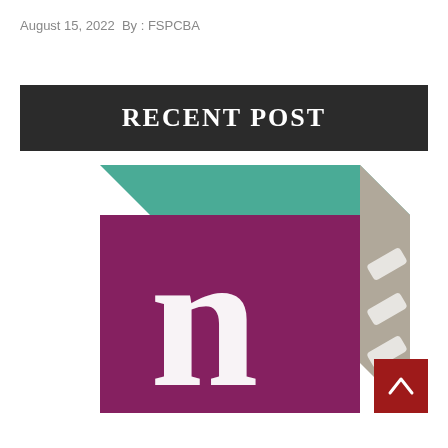August 15, 2022  By : FSPCBA
RECENT POST
[Figure (logo): 3D cube logo with teal top face, purple front face showing white letter 'n', and gray side face showing white diagonal stripes/letter 'a'. Partial view cropped at bottom. Red scroll-to-top button in bottom-right corner.]